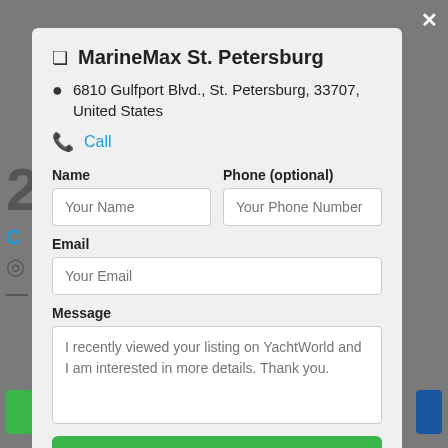MarineMax St. Petersburg
6810 Gulfport Blvd., St. Petersburg, 33707, United States
Call
Name
Phone (optional)
Email
Message
I recently viewed your listing on YachtWorld and I am interested in more details. Thank you.
Contact Broker